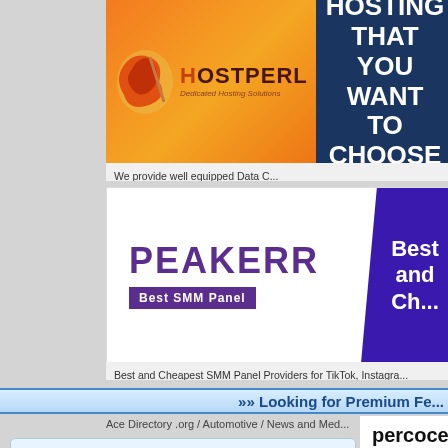[Figure (photo): HostPerl Dedicated Hosting Solutions advertisement banner with logo and 'HOSTING THAT YOU WANT TO CHOOSE' text]
We provide well equipped Data C...
[Figure (photo): PEAKERR Best SMM Panel advertisement banner with 'Best and Ch...' text on purple background]
Best and Cheapest SMM Panel Providers for TikTok, Instagra...
»» Looking for Premium Fe...
Ace Directory .org / Automotive / News and Med...
OUR PARTNERS
» BUY DELTA 8 VAPE JUICE, DELTA 8 MOON ROCKS, HHC VAPE JUICE, DELTA 8 THC VAPE JUICE Premium Delta 8 THC, HHC, CBD Oil, THCO and more.
» London Escorts London Escort Agency Girls Near By Outcall Female Escorts Cheap Local Escorts
percocet on sale with n...
Website URL: http://searchonlineme.../percocet-without-prescription/
Category: News and Media
the most popular pills for pain release t... same location in all over united states.
PUT YOUR